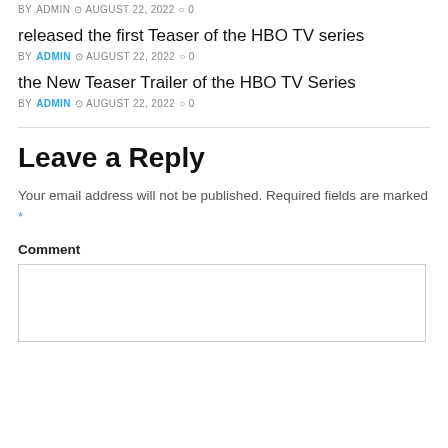BY ADMIN  AUGUST 22, 2022  0
released the first Teaser of the HBO TV series
BY ADMIN  AUGUST 22, 2022  0
the New Teaser Trailer of the HBO TV Series
BY ADMIN  AUGUST 22, 2022  0
Leave a Reply
Your email address will not be published. Required fields are marked *
Comment